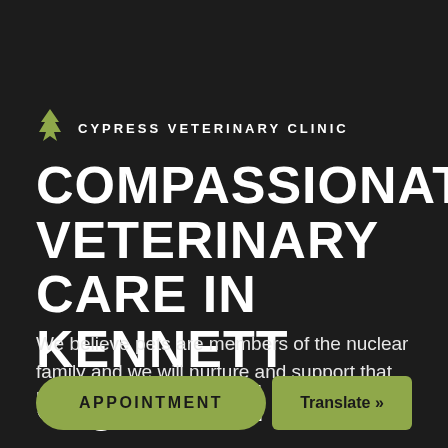[Figure (logo): Cypress Veterinary Clinic logo: a stylized cypress tree icon in olive/yellow-green color next to the text CYPRESS VETERINARY CLINIC in white spaced caps]
COMPASSIONATE VETERINARY CARE IN KENNETT SQUARE
We believe pets are members of the nuclear family and we will nurture and support that human-animal bond.
APPOINTMENT
Translate »